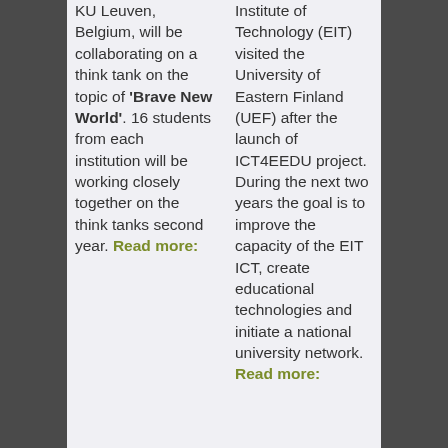KU Leuven, Belgium, will be collaborating on a think tank on the topic of 'Brave New World'. 16 students from each institution will be working closely together on the think tanks second year. Read more:
Institute of Technology (EIT) visited the University of Eastern Finland (UEF) after the launch of ICT4EEDU project. During the next two years the goal is to improve the capacity of the EIT ICT, create educational technologies and initiate a national university network. Read more: